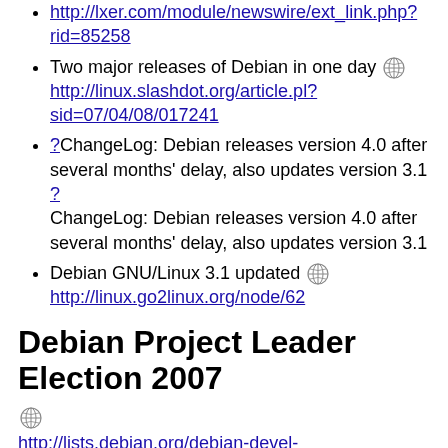http://lxer.com/module/newswire/ext_link.php?rid=85258
Two major releases of Debian in one day [globe] http://linux.slashdot.org/article.pl?sid=07/04/08/017241
?ChangeLog: Debian releases version 4.0 after several months' delay, also updates version 3.1 ? ChangeLog: Debian releases version 4.0 after several months' delay, also updates version 3.1
Debian GNU/Linux 3.1 updated [globe] http://linux.go2linux.org/node/62
Debian Project Leader Election 2007
[globe] http://lists.debian.org/debian-devel-announce/2007/02/msg00022.html and results at [globe] http://lists.debian.org/debian-devel-